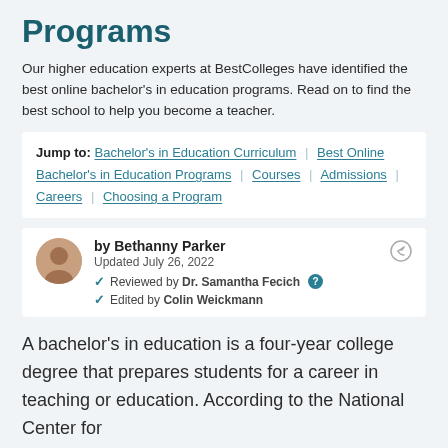Programs
Our higher education experts at BestColleges have identified the best online bachelor's in education programs. Read on to find the best school to help you become a teacher.
Jump to: Bachelor's in Education Curriculum | Best Online Bachelor's in Education Programs | Courses | Admissions | Careers | Choosing a Program
by Bethanny Parker
Updated July 26, 2022
Reviewed by Dr. Samantha Fecich
Edited by Colin Weickmann
A bachelor's in education is a four-year college degree that prepares students for a career in teaching or education. According to the National Center for